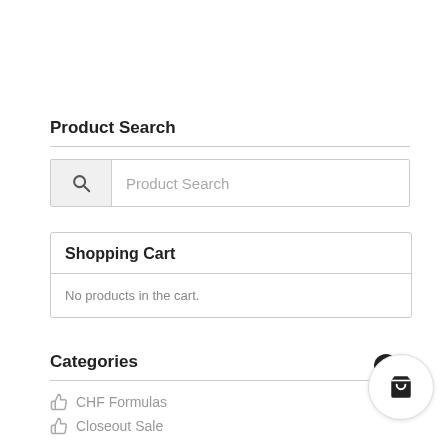Product Search
[Figure (screenshot): Search input field with magnifying glass icon and 'Product Search' placeholder text]
Shopping Cart
No products in the cart.
Categories
CHF Formulas
Closeout Sale